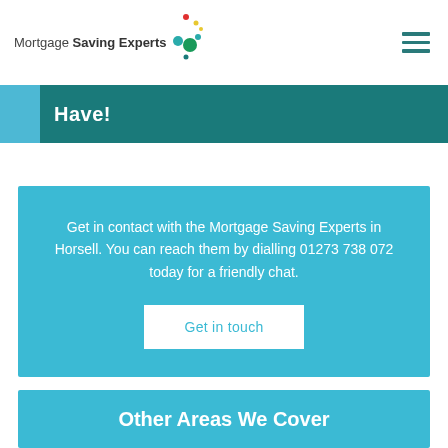Mortgage Saving Experts
Have!
Get in contact with the Mortgage Saving Experts in Horsell. You can reach them by dialling 01273 738 072 today for a friendly chat.
Get in touch
Other Areas We Cover